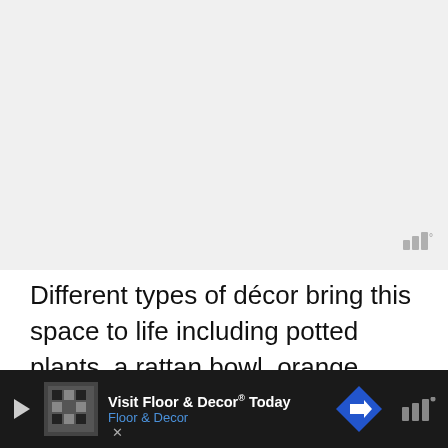[Figure (photo): Large image area showing a room interior with décor (appears as light gray placeholder in this rendering)]
Different types of décor bring this space to life including potted plants, a rattan bowl, orange towels, red circular carpet, framed images, and witty quotes. The simple wood shelf above should be easy to replicate.
[Figure (other): Advertisement bar at bottom: 'Visit Floor & Decor® Today — Floor & Decor' with play icon, thumbnail image, navigation arrow icon, and close button, on dark background]